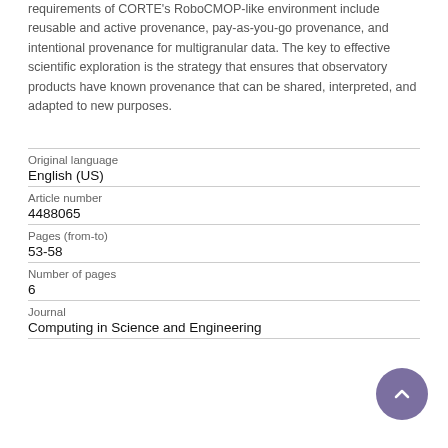requirements of CORTE's RoboCMOP-like environment include reusable and active provenance, pay-as-you-go provenance, and intentional provenance for multigranular data. The key to effective scientific exploration is the strategy that ensures that observatory products have known provenance that can be shared, interpreted, and adapted to new purposes.
| Original language | English (US) |
| Article number | 4488065 |
| Pages (from-to) | 53-58 |
| Number of pages | 6 |
| Journal | Computing in Science and Engineering |